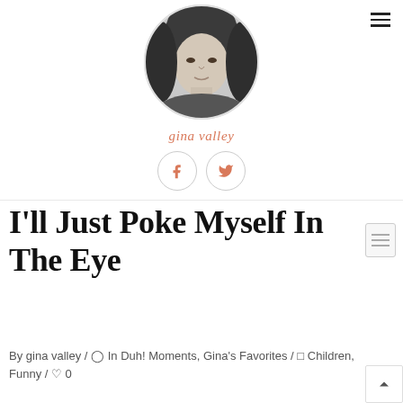[Figure (photo): Circular cropped black-and-white portrait photo of a woman with long dark hair, smiling slightly]
gina valley
[Figure (infographic): Row of two circular social media icon buttons: Facebook (f) and Twitter (bird), styled with salmon/coral color on white background with light gray border]
I'll Just Poke Myself In The Eye
By gina valley / In Duh! Moments, Gina's Favorites / Children, Funny / 0